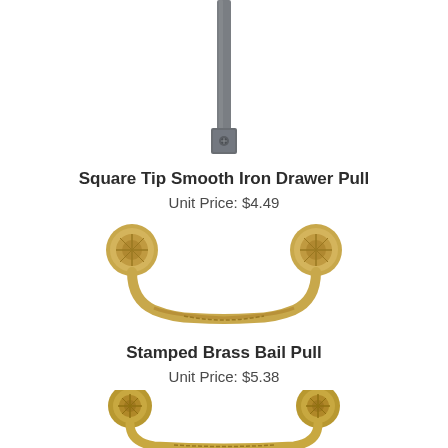[Figure (photo): Square Tip Smooth Iron Drawer Pull - a slim dark gray/iron bar with a small square mounting plate at the bottom, hanging vertically]
Square Tip Smooth Iron Drawer Pull
Unit Price: $4.49
[Figure (photo): Stamped Brass Bail Pull - a brass/gold colored bail pull handle with ornate circular rosettes on each end and a decorative curved bail bar with engraved pattern]
Stamped Brass Bail Pull
Unit Price: $5.38
[Figure (photo): Another brass/antique gold bail pull handle similar to the one above, with ornate rosette ends and a decorative curved bail bar, shown at the bottom of the page]